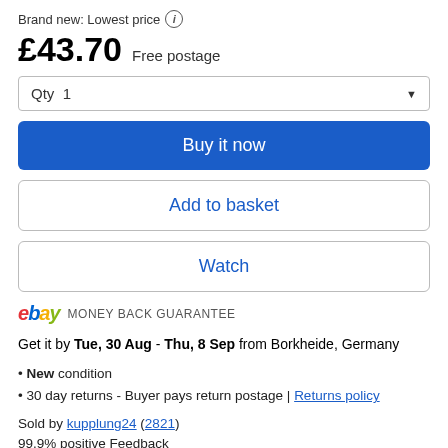Brand new: Lowest price ℹ
£43.70  Free postage
Qty 1
Buy it now
Add to basket
Watch
ebay MONEY BACK GUARANTEE
Get it by Tue, 30 Aug - Thu, 8 Sep from Borkheide, Germany
New condition
30 day returns - Buyer pays return postage | Returns policy
Sold by kupplung24 (2821)
99.9% positive Feedback